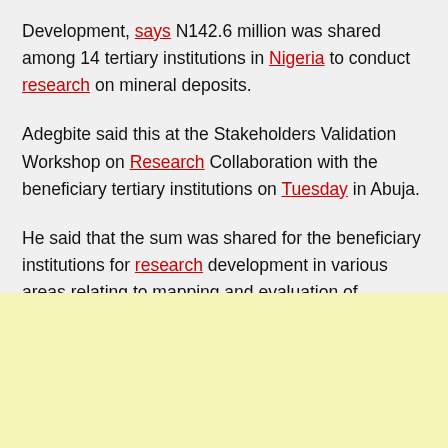Development, says N142.6 million was shared among 14 tertiary institutions in Nigeria to conduct research on mineral deposits.
Adegbite said this at the Stakeholders Validation Workshop on Research Collaboration with the beneficiary tertiary institutions on Tuesday in Abuja.
He said that the sum was shared for the beneficiary institutions for research development in various areas relating to mapping and evaluation of particular mineral deposits.
[Figure (other): Yellow/cream colored advertisement banner area]